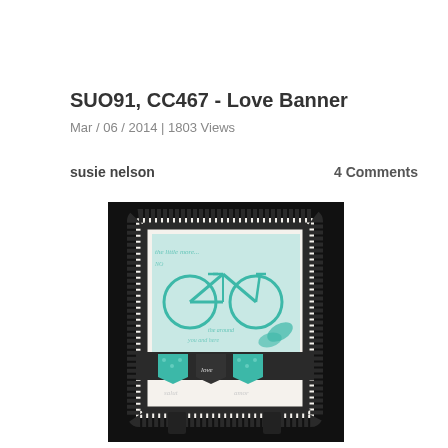SUO91, CC467 - Love Banner
Mar / 06 / 2014 | 1803 Views
susie nelson
4 Comments
[Figure (photo): A handmade greeting card featuring a decorative black scroll border frame, an inner panel with a teal/mint bicycle stamp and cursive script text, and a banner strip at the bottom with pennant flags reading 'salut', 'love', 'amor' in teal and black, photographed against a dark background.]